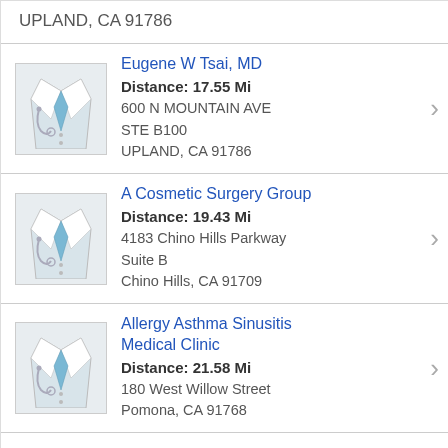UPLAND, CA 91786
Eugene W Tsai, MD
Distance: 17.55 Mi
600 N MOUNTAIN AVE
STE B100
UPLAND, CA 91786
A Cosmetic Surgery Group
Distance: 19.43 Mi
4183 Chino Hills Parkway
Suite B
Chino Hills, CA 91709
Allergy Asthma Sinusitis Medical Clinic
Distance: 21.58 Mi
180 West Willow Street
Pomona, CA 91768